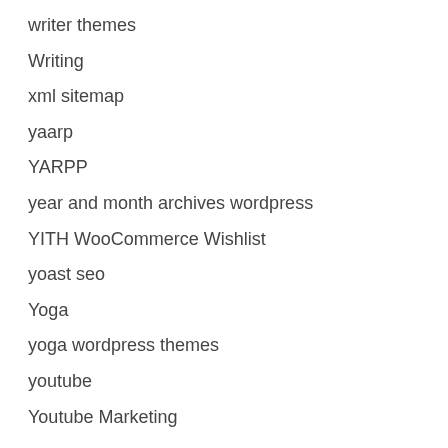writer themes
Writing
xml sitemap
yaarp
YARPP
year and month archives wordpress
YITH WooCommerce Wishlist
yoast seo
Yoga
yoga wordpress themes
youtube
Youtube Marketing